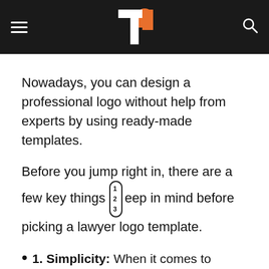TemplateMonster logo, navigation header
Nowadays, you can design a professional logo without help from experts by using ready-made templates.
Before you jump right in, there are a few key things to keep in mind before picking a lawyer logo template.
1. Simplicity: When it comes to designing a law logo design with a pre-made template, a simple or minimal logo design enables you to express your brand's true essence clearly. This includes